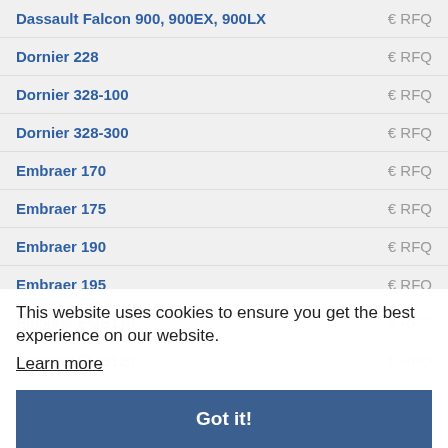| Aircraft | Price |
| --- | --- |
| Dassault Falcon 900, 900EX, 900LX | € RFQ |
| Dornier 228 | € RFQ |
| Dornier 328-100 | € RFQ |
| Dornier 328-300 | € RFQ |
| Embraer 170 | € RFQ |
| Embraer 175 | € RFQ |
| Embraer 190 | € RFQ |
| Embraer 195 | € RFQ |
| Embraer EMB110 | € RFQ |
| Embraer EMB120 | € RFQ |
| Embraer ERJ135 | € RFQ |
| Embraer ERJ140 | € RFQ |
| Embraer ERJ145 | € RFQ |
| Embraer Legacy 600 | € RFQ |
| Embraer Legacy 500 | € RFQ |
| Embraer Legacy 600 | € RFQ |
This website uses cookies to ensure you get the best experience on our website.
Learn more
Got it!